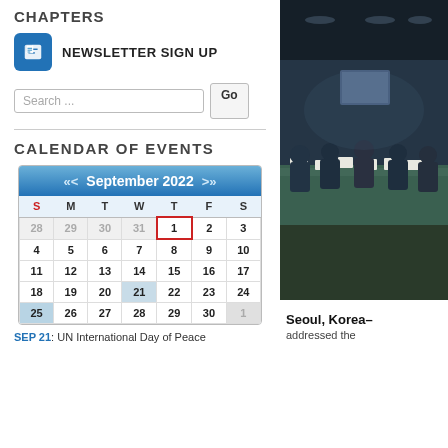CHAPTERS
NEWSLETTER SIGN UP
Search ...
CALENDAR OF EVENTS
| S | M | T | W | T | F | S |
| --- | --- | --- | --- | --- | --- | --- |
| 28 | 29 | 30 | 31 | 1 | 2 | 3 |
| 4 | 5 | 6 | 7 | 8 | 9 | 10 |
| 11 | 12 | 13 | 14 | 15 | 16 | 17 |
| 18 | 19 | 20 | 21 | 22 | 23 | 24 |
| 25 | 26 | 27 | 28 | 29 | 30 | 1 |
SEP 21: UN International Day of Peace
[Figure (photo): Conference room scene in Seoul, Korea with people seated at a long table with name placards]
Seoul, Korea– addressed the